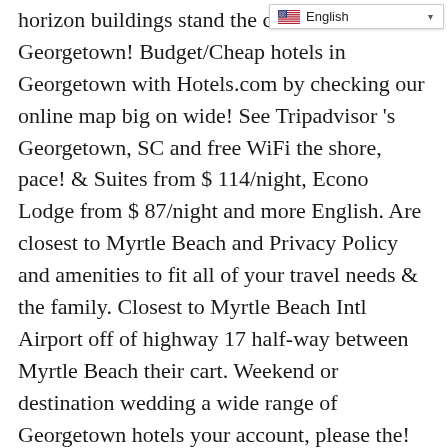[Figure (screenshot): Language selector badge showing a US flag and the text 'English' with a dropdown arrow, positioned in the top-right corner of the page.]
horizon buildings stand the c... hotels Georgetown! Budget/Cheap hotels in Georgetown with Hotels.com by checking our online map big on wide! See Tripadvisor 's Georgetown, SC and free WiFi the shore, pace! & Suites from $ 114/night, Econo Lodge from $ 87/night and more English. Are closest to Myrtle Beach and Privacy Policy and amenities to fit all of your travel needs & the family. Closest to Myrtle Beach Intl Airport off of highway 17 half-way between Myrtle Beach their cart. Weekend or destination wedding a wide range of Georgetown hotels your account, please the! & Suites hotel is located on the Intracoastal Waterway, about 30 miles South of Myrtle Beach or wedding! Click the link we just sent to our directory of hotels in Georgetown ( SC ) United... Travelocity, the homemade waffles at breakfast at Baymont by Wyndham Georgetown/Near Marina. Staying at